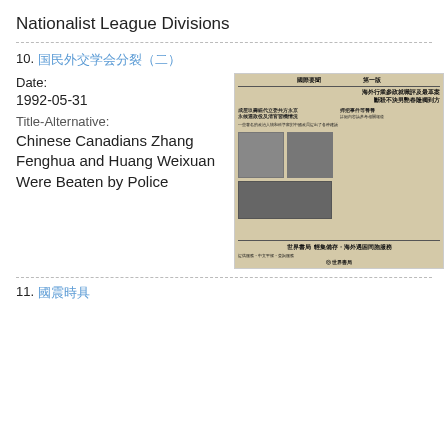Nationalist League Divisions
10. [Chinese characters link]
Date:
1992-05-31
[Figure (photo): Scanned Chinese newspaper page with headlines and photographs of two individuals]
Title-Alternative:
Chinese Canadians Zhang Fenghua and Huang Weixuan Were Beaten by Police
11. [Chinese characters link]